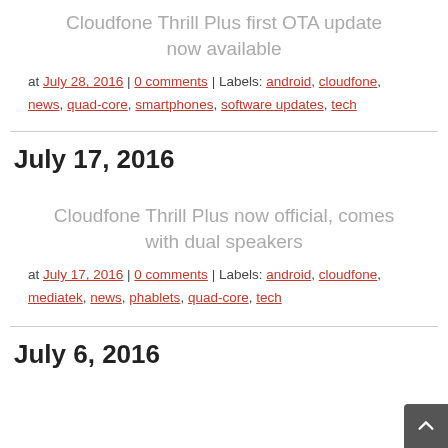Cloudfone Thrill Plus first OTA update now available
at July 28, 2016 | 0 comments | Labels: android, cloudfone, news, quad-core, smartphones, software updates, tech
July 17, 2016
Cloudfone Thrill Plus now official, comes with dual speakers
at July 17, 2016 | 0 comments | Labels: android, cloudfone, mediatek, news, phablets, quad-core, tech
July 6, 2016